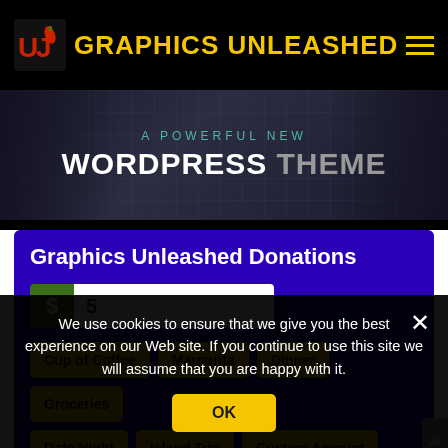GRAPHICS UNLEASHED
[Figure (screenshot): Banner image with text 'A POWERFUL NEW WORDPRESS THEME' on dark background]
Graphics Unleashed Donations
$ 5
Cup of Coffee
Margarita
Dinner
Groceries
Date Night
Island Trip
Custom Amount
We use cookies to ensure that we give you the best experience on our Web site. If you continue to use this site we will assume that you are happy with it.
OK